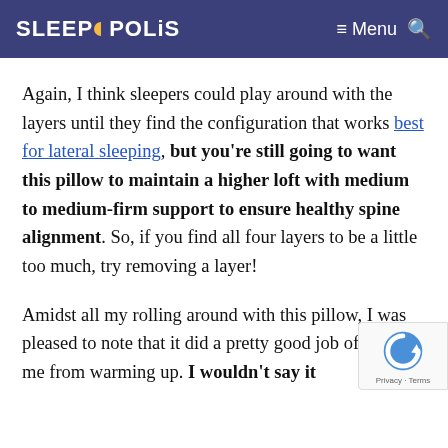SLEEPOPOLIS  ≡ Menu 🔍
Again, I think sleepers could play around with the layers until they find the configuration that works best for lateral sleeping, but you're still going to want this pillow to maintain a higher loft with medium to medium-firm support to ensure healthy spine alignment. So, if you find all four layers to be a little too much, try removing a layer!
Amidst all my rolling around with this pillow, I was pleased to note that it did a pretty good job of keeping me from warming up. I wouldn't say it